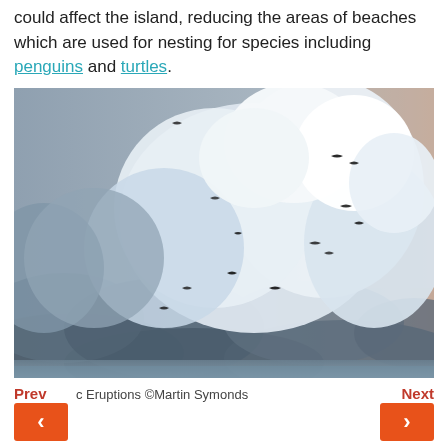could affect the island, reducing the areas of beaches which are used for nesting for species including penguins and turtles.
[Figure (photo): Photograph of large dramatic cumulus clouds over the ocean with several birds (silhouettes) flying in formation against the sky. The sea is visible at the horizon.]
c Eruptions ©Martin Symonds
Prev    Next